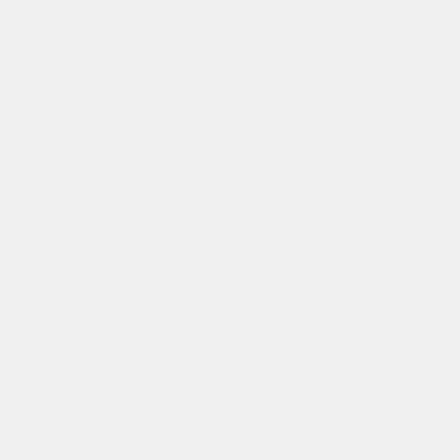=Potash Ore|image=Potash_ore.png|link=Potash Ore}} {{Inventory/Slot|index=11|title=Bag (Potassium Hydroxide)|image=Vessel_bag.png|link=Bag (Potassium Hydroxide)|amount=16}} + {{Inventory/Slot|index=2|title